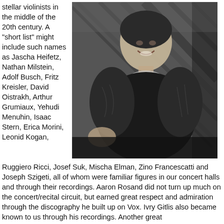stellar violinists in the middle of the 20th century. A "short list" might include such names as Jascha Heifetz, Nathan Milstein, Adolf Busch, Fritz Kreisler, David Oistrakh, Arthur Grumiaux, Yehudi Menuhin, Isaac Stern, Erica Morini, Leonid Kogan,
[Figure (photo): Black and white photograph of a smiling person wearing a dark fur coat, standing in front of a decoratively paneled wall or door with diagonal geometric woodwork patterns.]
Ruggiero Ricci, Josef Suk, Mischa Elman, Zino Francescatti and Joseph Szigeti, all of whom were familiar figures in our concert halls and through their recordings. Aaron Rosand did not turn up much on the concert/recital circuit, but earned great respect and admiration through the discography he built up on Vox. Ivry Gitlis also became known to us through his recordings. Another great